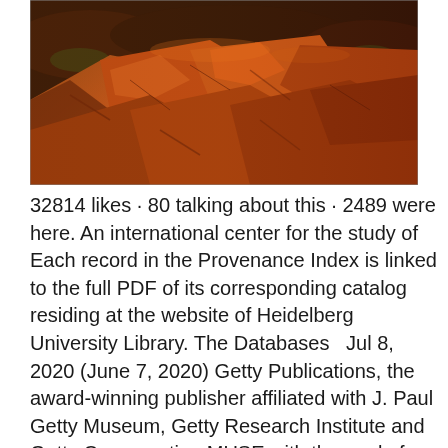[Figure (photo): A close-up photograph of reddish-brown rocky terrain/boulders with some sparse green vegetation visible in the background, taken with warm golden-hour lighting.]
32814 likes · 80 talking about this · 2489 were here. An international center for the study of Each record in the Provenance Index is linked to the full PDF of its corresponding catalog residing at the website of Heidelberg University Library. The Databases  Jul 8, 2020 (June 7, 2020) Getty Publications, the award-winning publisher affiliated with J. Paul Getty Museum, Getty Research Institute and Getty Conservation MUSE with the goal of providing academic libraries with broader and&n library of the Getty Research Institute. Getty Research Library.